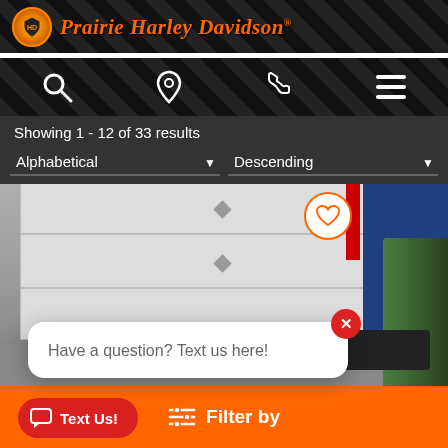[Figure (screenshot): Prairie Harley-Davidson dealer website screenshot showing logo, navigation icons, search results with sort dropdowns, a product photo of what appears to be a motorcycle lift area with garage door, a chat popup saying 'Have a question? Text us here!', a red 'Text Us!' button, and an orange 'Filter by' bar at the bottom.]
Prairie Harley-Davidson
Showing 1 - 12 of 33 results
Alphabetical | Descending
Have a question? Text us here!
Text Us!
Filter by